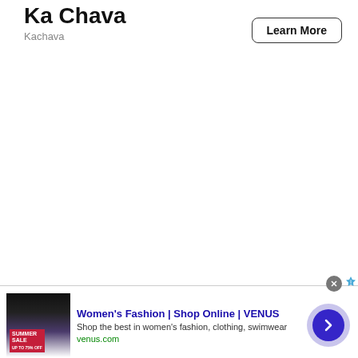Ka Chava
Kachava
Learn More
[Figure (screenshot): Advertisement banner for VENUS women's fashion with thumbnail image showing a summer sale promotion]
Women's Fashion | Shop Online | VENUS
Shop the best in women's fashion, clothing, swimwear
venus.com